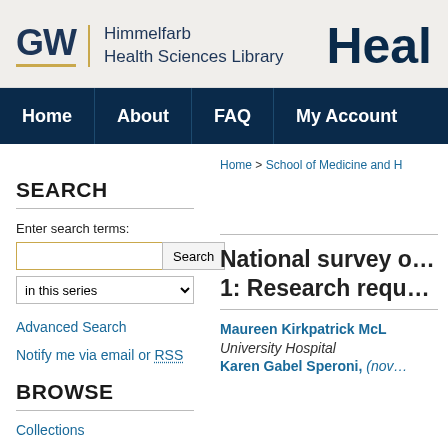[Figure (logo): GW Himmelfarb Health Sciences Library logo with GW initials and text, and partial 'Heal' text on right]
Home | About | FAQ | My Account
SEARCH
Enter search terms:
in this series [dropdown]
Advanced Search
Notify me via email or RSS
BROWSE
Collections
Disciplines
Home > School of Medicine and H…
National survey o… 1: Research requ…
Maureen Kirkpatrick McL…
University Hospital
Karen Gabel Speroni, (nov…